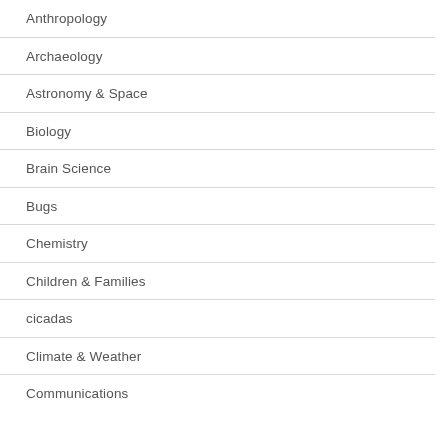Anthropology
Archaeology
Astronomy & Space
Biology
Brain Science
Bugs
Chemistry
Children & Families
cicadas
Climate & Weather
Communications